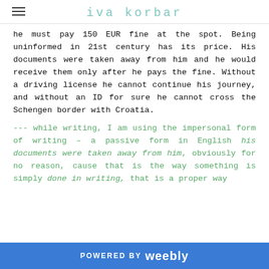iva korbar
he must pay 150 EUR fine at the spot. Being uninformed in 21st century has its price. His documents were taken away from him and he would receive them only after he pays the fine. Without a driving license he cannot continue his journey, and without an ID for sure he cannot cross the Schengen border with Croatia.
--- while writing, I am using the impersonal form of writing – a passive form in English his documents were taken away from him, obviously for no reason, cause that is the way something is simply done in writing, that is a proper way
POWERED BY weebly